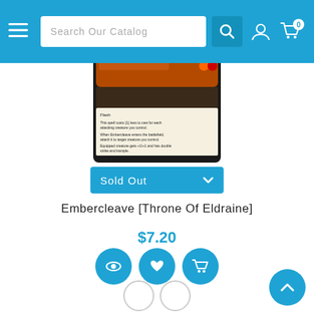Search Our Catalog
[Figure (photo): Magic: The Gathering card — Embercleave from Throne of Eldraine set, showing card text including Flash, cost reduction ability, equip ability granting +1/+1 double strike and trample, Equip 3]
Sold Out
Embercleave [Throne Of Eldraine]
$7.20